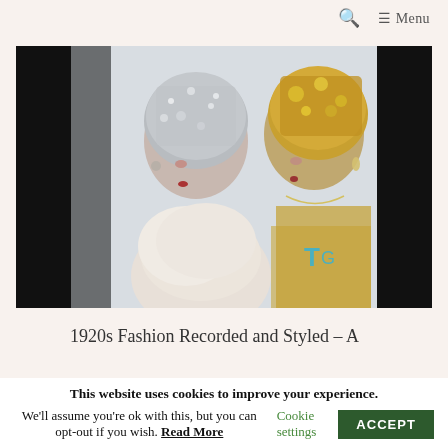🔍  ☰ Menu
[Figure (photo): Two fashion mannequins or figures wearing ornate 1920s-style sequined head caps — one silver, one gold — photographed against a light gray background. The left figure wears a white fur stole. The images are displayed with a black border/letterbox on left and right sides.]
1920s Fashion Recorded and Styled – A
This website uses cookies to improve your experience. We'll assume you're ok with this, but you can opt-out if you wish. Read More   Cookie settings   ACCEPT